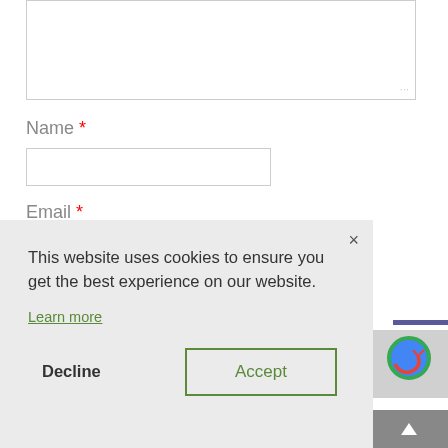[Figure (screenshot): Textarea form field at top of page, partially visible, with resize handle at bottom right corner]
Name *
[Figure (screenshot): Text input field for Name]
Email *
[Figure (screenshot): Cookie consent banner overlay with close button (x), message about cookies, Learn more link, Decline button, and Accept button with green border]
This website uses cookies to ensure you get the best experience on our website.
Learn more
Decline
Accept